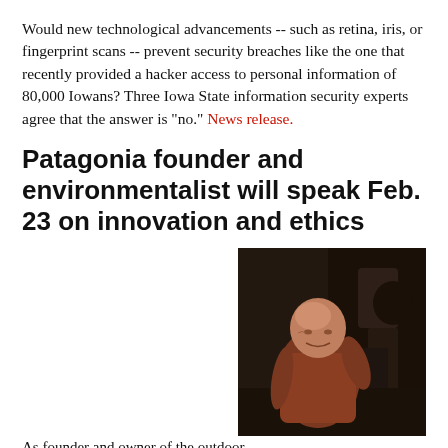Would new technological advancements -- such as retina, iris, or fingerprint scans -- prevent security breaches like the one that recently provided a hacker access to personal information of 80,000 Iowans? Three Iowa State information security experts agree that the answer is "no." News release.
Patagonia founder and environmentalist will speak Feb. 23 on innovation and ethics
As founder and owner of the outdoor apparel company Patagonia, Yvon Chouinard is known as a leader in corporate social responsibility. Chouinard will share his story of building an environmentally conscious company when he presents the keynote address for Iowa
[Figure (photo): Photo of Yvon Chouinard, an older bald man in a reddish-brown shirt, leaning on machinery in what appears to be a workshop or factory setting.]